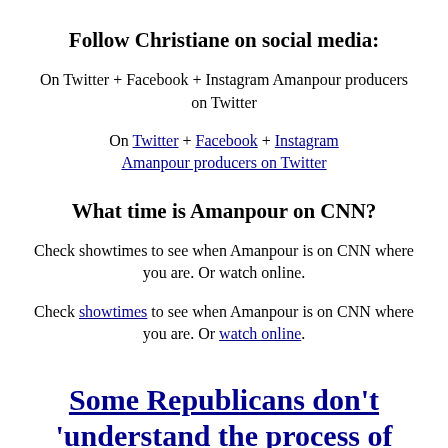Follow Christiane on social media:
On Twitter + Facebook + Instagram Amanpour producers on Twitter
On Twitter + Facebook + Instagram Amanpour producers on Twitter
What time is Amanpour on CNN?
Check showtimes to see when Amanpour is on CNN where you are. Or watch online.
Check showtimes to see when Amanpour is on CNN where you are. Or watch online.
Some Republicans don’t ‘understand the process of